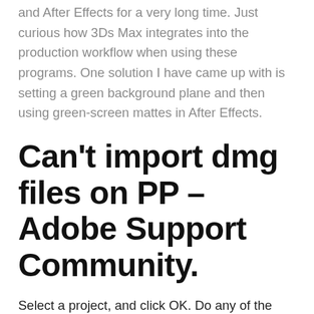and After Effects for a very long time. Just curious how 3Ds Max integrates into the production workflow when using these programs. One solution I have came up with is setting a green background plane and then using green-screen mattes in After Effects.
Can't import dmg files on PP – Adobe Support Community.
Select a project, and click OK. Do any of the following: To import only one sequence, choose a sequence from the menu. To import audio, select Import Audio. Note: To add a single item from a track in an Adobe Premiere Pro project, copy the item in Adobe Premiere Pro, and choose Edit> Paste in After Effects. 1. The Photoshop